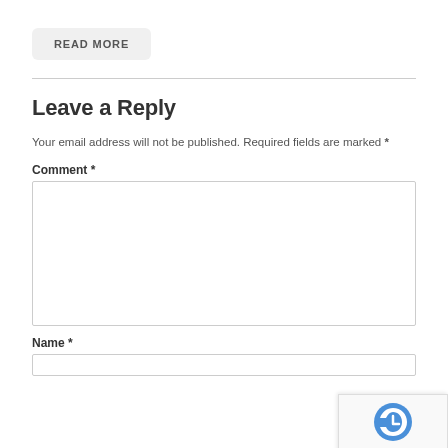READ MORE
Leave a Reply
Your email address will not be published. Required fields are marked *
Comment *
Name *